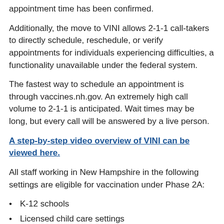appointment time has been confirmed.
Additionally, the move to VINI allows 2-1-1 call-takers to directly schedule, reschedule, or verify appointments for individuals experiencing difficulties, a functionality unavailable under the federal system.
The fastest way to schedule an appointment is through vaccines.nh.gov. An extremely high call volume to 2-1-1 is anticipated. Wait times may be long, but every call will be answered by a live person.
A step-by-step video overview of VINI can be viewed here.
All staff working in New Hampshire in the following settings are eligible for vaccination under Phase 2A:
K-12 schools
Licensed child care settings
License-exempt settings enrolled with the NH